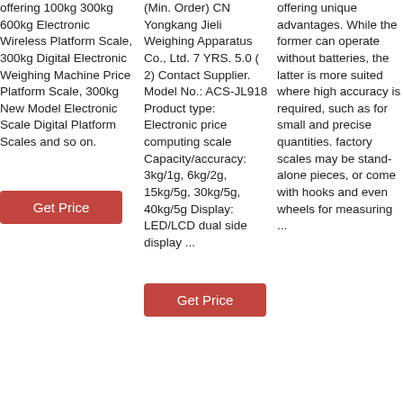offering 100kg 300kg 600kg Electronic Wireless Platform Scale, 300kg Digital Electronic Weighing Machine Price Platform Scale, 300kg New Model Electronic Scale Digital Platform Scales and so on.
Get Price
(Min. Order) CN Yongkang Jieli Weighing Apparatus Co., Ltd. 7 YRS. 5.0 ( 2) Contact Supplier. Model No.: ACS-JL918 Product type: Electronic price computing scale Capacity/accuracy: 3kg/1g, 6kg/2g, 15kg/5g, 30kg/5g, 40kg/5g Display: LED/LCD dual side display ...
Get Price
offering unique advantages. While the former can operate without batteries, the latter is more suited where high accuracy is required, such as for small and precise quantities. factory scales may be stand-alone pieces, or come with hooks and even wheels for measuring ...